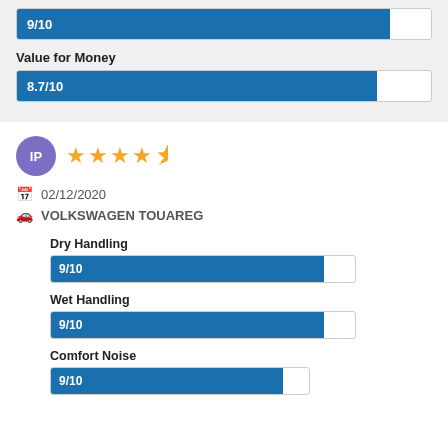[Figure (bar-chart): Rating bar]
Value for Money
[Figure (bar-chart): Value for Money bar]
[Figure (infographic): Reviewer avatar circle with initials IP and 4.5 star rating]
02/12/2020
VOLKSWAGEN TOUAREG
Dry Handling
[Figure (bar-chart): Dry Handling]
Wet Handling
[Figure (bar-chart): Wet Handling]
Comfort Noise
[Figure (bar-chart): Comfort Noise]